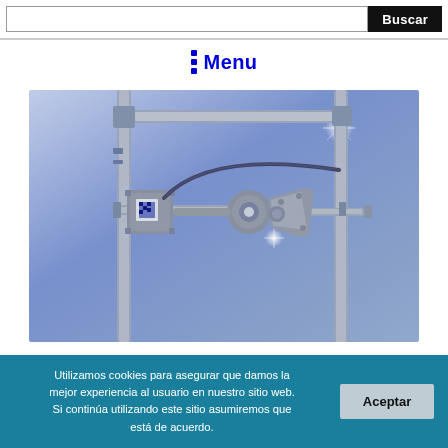Buscar
Menu
[Figure (photo): 3D printer frame showing the X-axis carriage assembly with extruder motor, cable management, and aluminum extrusion frame against a light blue gradient background.]
Utilizamos cookies para asegurar que damos la mejor experiencia al usuario en nuestro sitio web. Si continúa utilizando este sitio asumiremos que está de acuerdo.